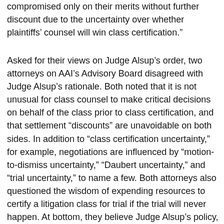compromised only on their merits without further discount due to the uncertainty over whether plaintiffs' counsel will win class certification."
Asked for their views on Judge Alsup's order, two attorneys on AAI's Advisory Board disagreed with Judge Alsup's rationale. Both noted that it is not unusual for class counsel to make critical decisions on behalf of the class prior to class certification, and that settlement "discounts" are unavoidable on both sides. In addition to "class certification uncertainty," for example, negotiations are influenced by "motion-to-dismiss uncertainty," "Daubert uncertainty," and "trial uncertainty," to name a few. Both attorneys also questioned the wisdom of expending resources to certify a litigation class for trial if the trial will never happen. At bottom, they believe Judge Alsup's policy, if widely adopted, would make cases more risky, time-consuming, and expensive. Although class certification considerations can sometimes influence settlement negotiations in unique ways, courts can most appropriately